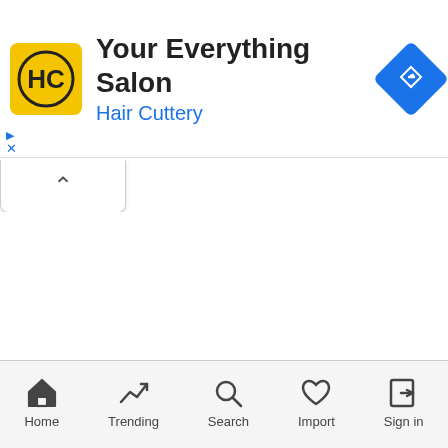[Figure (screenshot): Advertisement banner for Hair Cuttery salon. Shows HC logo on yellow background, text 'Your Everything Salon' and 'Hair Cuttery' in blue, with a blue diamond navigation icon on the right. Ad controls (triangle and X) visible at bottom-left.]
[Figure (screenshot): Collapsed tab/panel with an upward chevron (^) arrow indicating a collapsible UI element.]
Home  Trending  Search  Import  Sign in